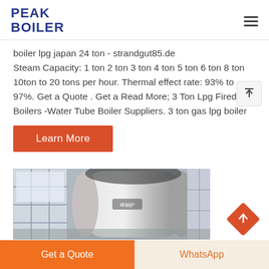PEAK BOILER
boiler lpg japan 24 ton - strandgut85.de Steam Capacity: 1 ton 2 ton 3 ton 4 ton 5 ton 6 ton 8 ton 10ton to 20 tons per hour. Thermal effect rate: 93% to 97%. Get a Quote . Get a Read More; 3 Ton Lpg Fired Boilers -Water Tube Boiler Suppliers. 3 ton gas lpg boiler
[Figure (other): Orange 'Learn More' button]
[Figure (photo): Industrial boiler in a factory setting, showing a large cylindrical silver/grey boiler vessel inside a warehouse with windows]
Get a Quote   WhatsApp